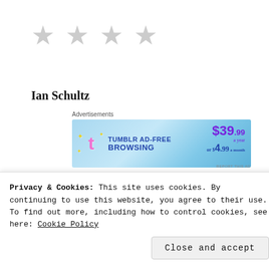[Figure (illustration): Four gray empty star rating icons in a row]
Ian Schultz
[Figure (illustration): Tumblr Ad-Free Browsing advertisement banner: $39.99 a year or $4.99 a month]
Buy Here
Privacy & Cookies: This site uses cookies. By continuing to use this website, you agree to their use.
To find out more, including how to control cookies, see here: Cookie Policy
Close and accept